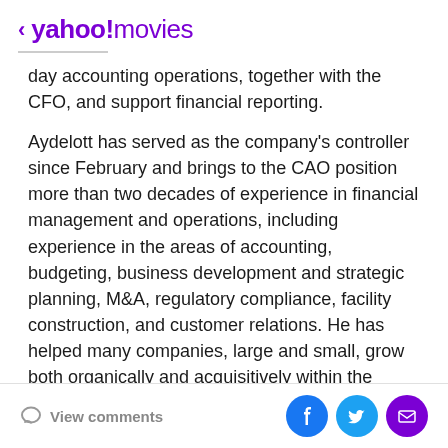< yahoo!movies
day accounting operations, together with the CFO, and support financial reporting.
Aydelott has served as the company's controller since February and brings to the CAO position more than two decades of experience in financial management and operations, including experience in the areas of accounting, budgeting, business development and strategic planning, M&A, regulatory compliance, facility construction, and customer relations. He has helped many companies, large and small, grow both organically and acquisitively within the insurance, senior living, state government and non-profit healthcare industries.
View comments